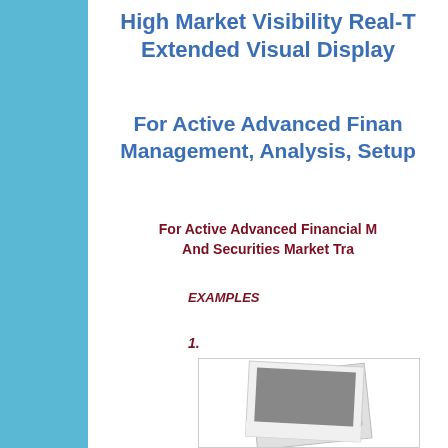High Market Visibility Real-Time Extended Visual Display
For Active Advanced Financial Management, Analysis, Setup
For Active Advanced Financial M And Securities Market Tra
EXAMPLES
1.
[Figure (photo): Placeholder photo image showing stacked polaroid-style photograph]